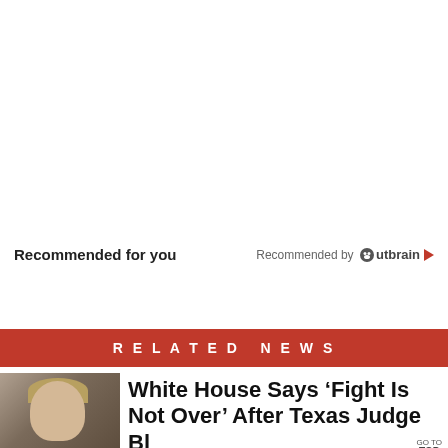Recommended for you
Recommended by Outbrain
RELATED NEWS
White House Says ‘Fight Is Not Over’ After Texas Judge Bl
GO TO TOP